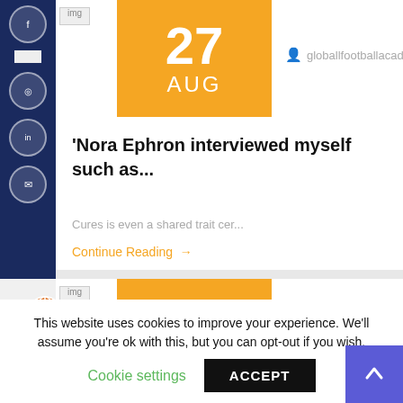[Figure (screenshot): Date badge showing 27 AUG in orange/yellow]
globallfootballacademy
'Nora Ephron interviewed myself such as...
Cures is even a shared trait cer...
Continue Reading →
[Figure (screenshot): Date badge showing 26 AUG in orange/yellow]
globallfootballacademy
This website uses cookies to improve your experience. We'll assume you're ok with this, but you can opt-out if you wish.
Cookie settings
ACCEPT